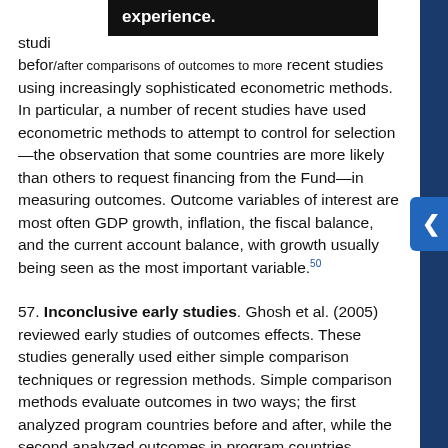studi... experience. before/after comparisons of outcomes to more recent studies using increasingly sophisticated econometric methods. In particular, a number of recent studies have used econometric methods to attempt to control for selection—the observation that some countries are more likely than others to request financing from the Fund—in measuring outcomes. Outcome variables of interest are most often GDP growth, inflation, the fiscal balance, and the current account balance, with growth usually being seen as the most important variable.50
57. Inconclusive early studies. Ghosh et al. (2005) reviewed early studies of outcomes effects. These studies generally used either simple comparison techniques or regression methods. Simple comparison methods evaluate outcomes in two ways; the first analyzed program countries before and after, while the second analyzed outcomes in program countries relative to a control group of countries without programs. Some early studies also employed regression based methods to account for selection